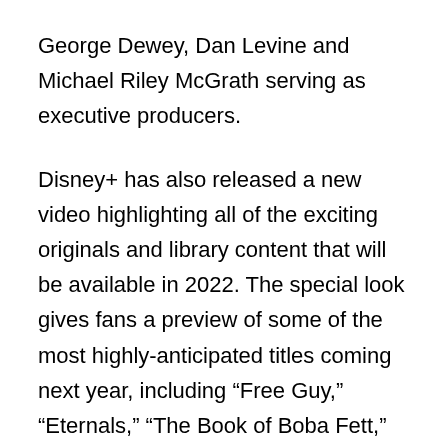George Dewey, Dan Levine and Michael Riley McGrath serving as executive producers.
Disney+ has also released a new video highlighting all of the exciting originals and library content that will be available in 2022. The special look gives fans a preview of some of the most highly-anticipated titles coming next year, including “Free Guy,” “Eternals,” “The Book of Boba Fett,” “The Proud Family: Louder and Prouder,” “Hocus Pocus 2,” “Limitless with Chris Hemsworth,” “Obi-Wan Kenobi,” “Ms. Marvel,” “She-Hulk,” “Moon Knight” and more. Watch the Coming in 2022 video below.